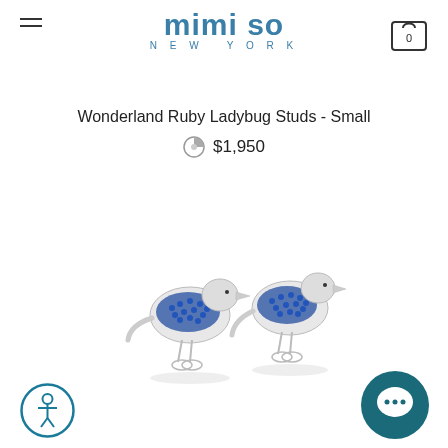mimi so NEW YORK
Wonderland Ruby Ladybug Studs - Small
$1,950
[Figure (photo): Two silver bird stud earrings with blue sapphire gemstone bodies on white background]
[Figure (other): Accessibility icon button (circular, teal border, person symbol)]
[Figure (other): Chat bubble icon button (dark teal circle)]